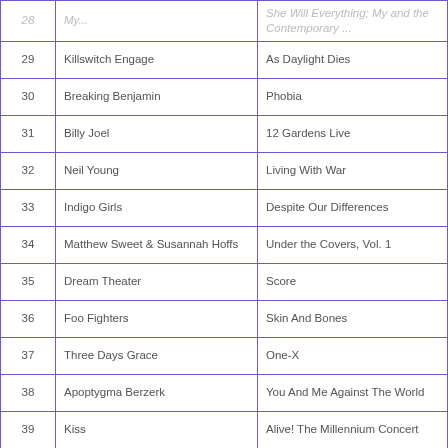| # | Artist | Album |
| --- | --- | --- |
| 28 |  | She Will Everything; My and the Contemporary... |
| 29 | Killswitch Engage | As Daylight Dies |
| 30 | Breaking Benjamin | Phobia |
| 31 | Billy Joel | 12 Gardens Live |
| 32 | Neil Young | Living With War |
| 33 | Indigo Girls | Despite Our Differences |
| 34 | Matthew Sweet & Susannah Hoffs | Under the Covers, Vol. 1 |
| 35 | Dream Theater | Score |
| 36 | Foo Fighters | Skin And Bones |
| 37 | Three Days Grace | One-X |
| 38 | Apoptygma Berzerk | You And Me Against The World |
| 39 | Kiss | Alive! The Millennium Concert |
| 40 | David Gilmour | On an Island |
| 41 | Frost* | Milliontown |
| 42 | The Wonder Stuff | Suspended By Stars |
| 43 | Snow Patrol | Eyes Open |
| 44 | Audioslave | Revelations |
| 45 | Bad... | Bad... |